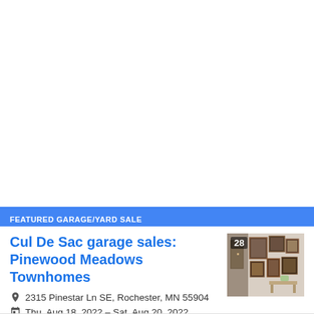FEATURED GARAGE/YARD SALE
Cul De Sac garage sales: Pinewood Meadows Townhomes
2315 Pinestar Ln SE, Rochester, MN 55904
Thu, Aug 18, 2022 – Sat, Aug 20, 2022
[Figure (photo): Interior room with framed artwork and pictures hung on white walls, with a small table]
28 Photos »